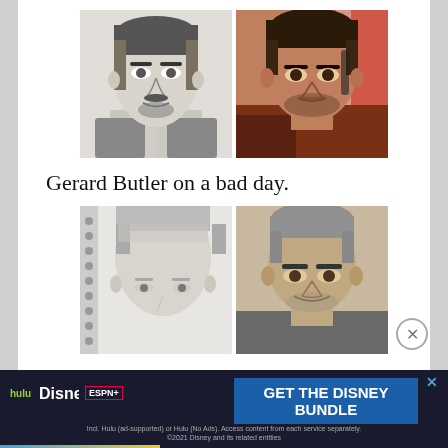[Figure (illustration): Side-by-side comparison: left is a pencil sketch portrait of a man with dark hair, mustache and beard, wearing suit and tie; right is a photo of Gerard Butler with stubble, dark hair, wearing brown jacket]
Gerard Butler on a bad day.
[Figure (illustration): Side-by-side comparison: left is a pencil sketch of a man with light gray/white hair, showing mainly forehead and eyes; right is a photo of George Clooney with gray hair, smiling]
[Figure (other): Advertisement banner: Disney Bundle promotion with Hulu, Disney+, ESPN+ logos and 'GET THE DISNEY BUNDLE' call to action. Fine print: Incl. Hulu (ad-supported) or Hulu (No Ads). Access content from each service separately. ©2021 Disney and its related entities]